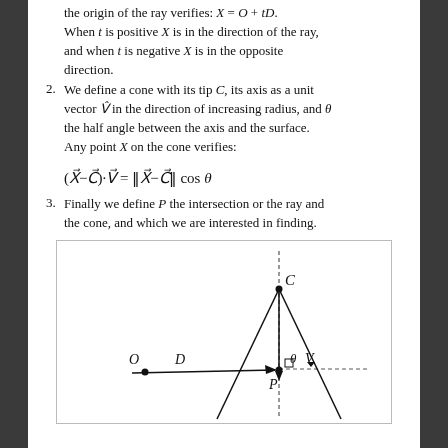the origin of the ray verifies: X = O + tD. When t is positive X is in the direction of the ray, and when t is negative X is in the opposite direction.
2. We define a cone with its tip C, its axis as a unit vector V̂ in the direction of increasing radius, and θ the half angle between the axis and the surface. Any point X on the cone verifies:
3. Finally we define P the intersection or the ray and the cone, and which we are interested in finding.
[Figure (engineering-diagram): Diagram showing a cone with tip C, axis vector V pointing downward, half-angle θ, ray from origin O in direction D intersecting the cone at point P. The cone is shown with solid lines for visible edges and dotted lines for hidden/axis lines.]